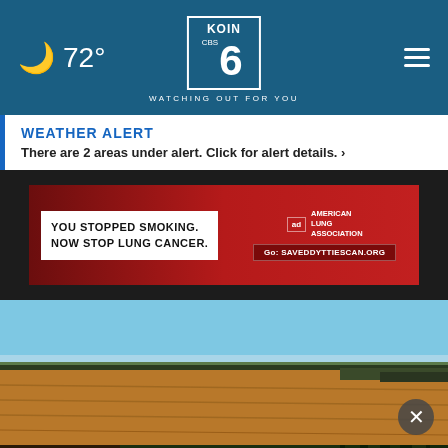🌙 72° — KOIN 6 CBS — WATCHING OUT FOR YOU
WEATHER ALERT
There are 2 areas under alert. Click for alert details. >
[Figure (advertisement): American Lung Association advertisement: YOU STOPPED SMOKING. NOW STOP LUNG CANCER. Get SAVEDDYTTIESCAN.ORG]
[Figure (photo): Aerial landscape photo showing dry farmland fields under a clear blue sky]
[Figure (advertisement): Discover the Forest .org advertisement with forest background, Ad Council and USDA logos]